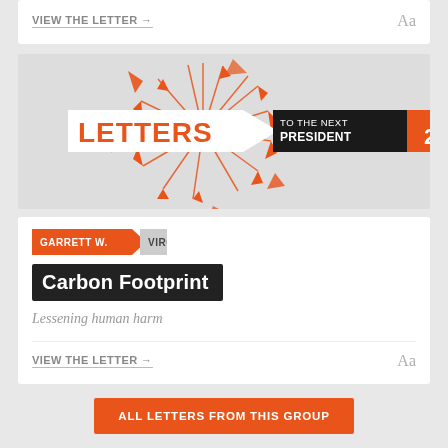VIEW THE LETTER →
[Figure (logo): Letters to the Next President 2.0 logo with orange arrow burst graphic on gray background]
GARRETT W. VIRGINIA
Carbon Footprint
Lessening human harm
VIEW THE LETTER →
ALL LETTERS FROM THIS GROUP